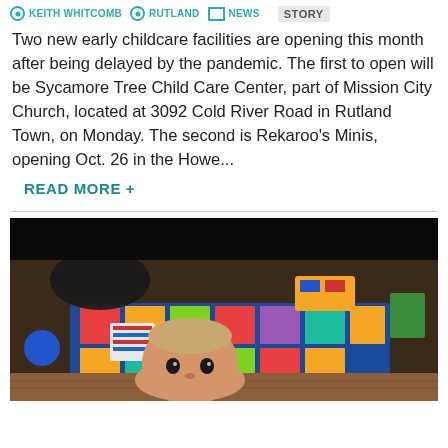KEITH WHITCOMB · RUTLAND · NEWS STORY
Two new early childcare facilities are opening this month after being delayed by the pandemic. The first to open will be Sycamore Tree Child Care Center, part of Mission City Church, located at 3092 Cold River Road in Rutland Town, on Monday. The second is Rekaroo's Minis, opening Oct. 26 in the Howe...
READ MORE +
[Figure (photo): A baby crawling on a wooden floor in a childcare room with a colorful alphabet rug, toys, and storage bins visible in the background]